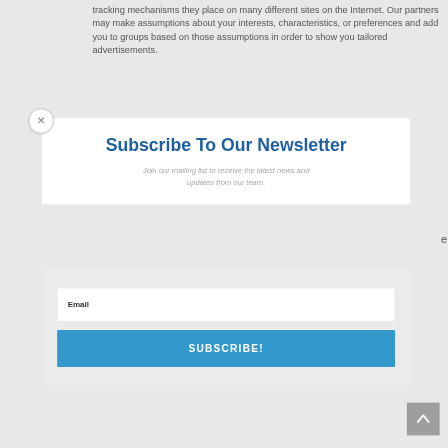tracking mechanisms they place on many different sites on the Internet. Our partners may make assumptions about your interests, characteristics, or preferences and add you to groups based on those assumptions in order to show you tailored advertisements.
Subscribe To Our Newsletter
Join our mailing list to receive the latest news and updates from our team.
Email
SUBSCRIBE!